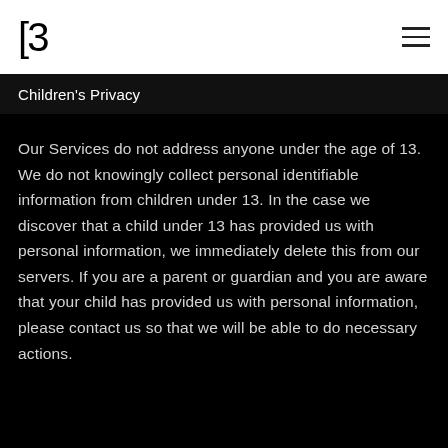[3 ☰
Children's Privacy
Our Services do not address anyone under the age of 13. We do not knowingly collect personal identifiable information from children under 13. In the case we discover that a child under 13 has provided us with personal information, we immediately delete this from our servers. If you are a parent or guardian and you are aware that your child has provided us with personal information, please contact us so that we will be able to do necessary actions.